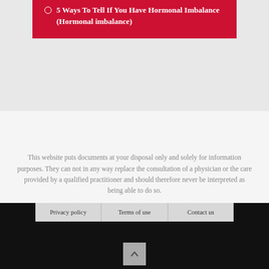5 Ways To Tell If You Have Hormonal Imbalance (Hormonal imbalance)
This website puts documents at your disposal only and solely for information purposes. They can not in any way replace the consultation of a physician or the care provided by a qualified practitioner and should therefore never be interpreted as being able to do so.
Privacy policy | Terms of use | Contact us